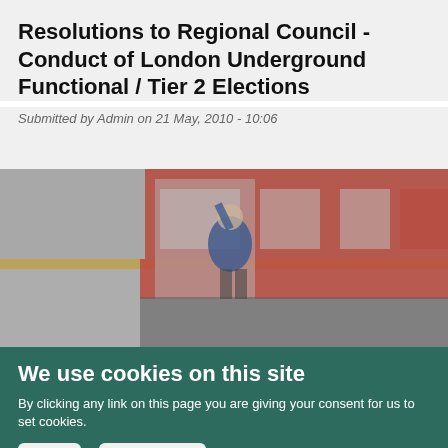Resolutions to Regional Council - Conduct of London Underground Functional / Tier 2 Elections
Submitted by Admin on 21 May, 2010 - 10:06
[Figure (photo): Blurred/stylized photo of London Underground platform with a red tube train and people standing on the platform]
We use cookies on this site
By clicking any link on this page you are giving your consent for us to set cookies.
OK  More info